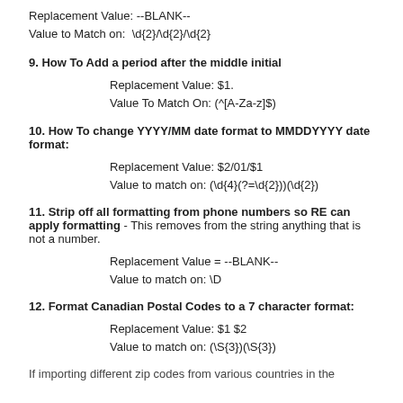Replacement Value: --BLANK--
Value to Match on: \d{2}/\d{2}/\d{2}
9. How To Add a period after the middle initial
Replacement Value: $1.
Value To Match On: (^[A-Za-z]$)
10. How To change YYYY/MM date format to MMDDYYYY date format:
Replacement Value: $2/01/$1
Value to match on: (\d{4}(?=\d{2}))(\d{2})
11. Strip off all formatting from phone numbers so RE can apply formatting - This removes from the string anything that is not a number.
Replacement Value = --BLANK--
Value to match on: \D
12. Format Canadian Postal Codes to a 7 character format:
Replacement Value: $1 $2
Value to match on: (\S{3})(\S{3})
If importing different zip codes from various countries in the